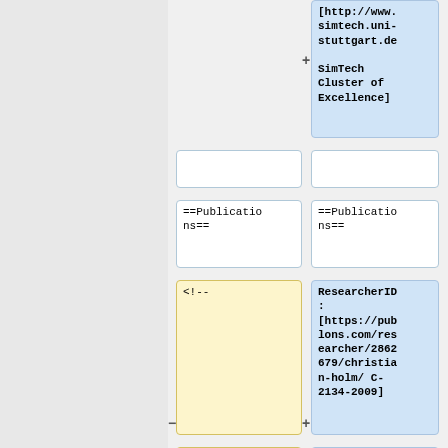[http://www.simtech.uni-stuttgart.de SimTech Cluster of Excellence]
==Publications==
==Publications==
<!--
ResearcherID: [https://publons.com/researcher/2862679/christian-holm/ C-2134-2009]
Publications only on
<span id="badgeCon